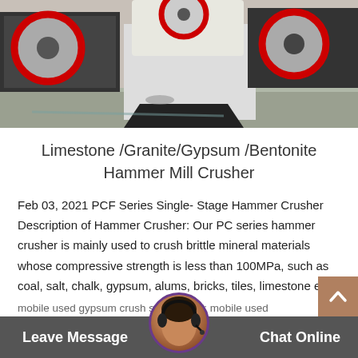[Figure (photo): Industrial hammer crushers/mills in a factory setting, showing large machines with red-accented flywheels on a concrete floor]
Limestone /Granite/Gypsum /Bentonite Hammer Mill Crusher
Feb 03, 2021 PCF Series Single- Stage Hammer Crusher Description of Hammer Crusher: Our PC series hammer crusher is mainly used to crush brittle mineral materials whose compressive strength is less than 100MPa, such as coal, salt, chalk, gypsum, alums, bricks, tiles, limestone etc.
mobile used gypsum crusher sale ireland: mobile used
Leave Message   Chat Online